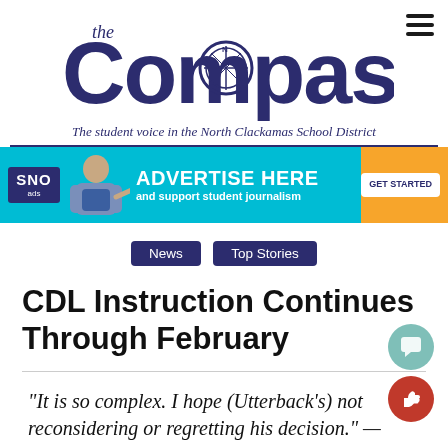[Figure (logo): The Compass newspaper logo in blue with compass rose icon]
The student voice in the North Clackamas School District
[Figure (infographic): SNO ads advertisement banner: ADVERTISE HERE and support student journalism GET STARTED]
News   Top Stories
CDL Instruction Continues Through February
“It is so complex. I hope (Utterback’s) not reconsidering or regretting his decision.” — Board Member Tory